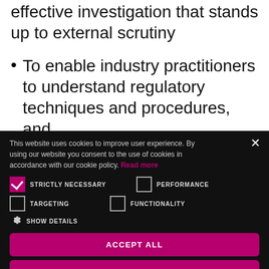effective investigation that stands up to external scrutiny
To enable industry practitioners to understand regulatory techniques and procedures, and
This website uses cookies to improve user experience. By using our website you consent to the use of cookies in accordance with our cookie policy. Read more
STRICTLY NECESSARY   PERFORMANCE   TARGETING   FUNCTIONALITY   SHOW DETAILS
ACCEPT ALL
DECLINE ALL